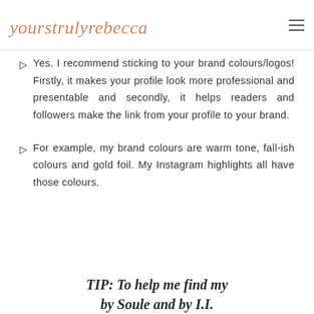yourstrulyrebecca
Yes. I recommend sticking to your brand colours/logos! Firstly, it makes your profile look more professional and presentable and secondly, it helps readers and followers make the link from your profile to your brand.
For example, my brand colours are warm tone, fall-ish colours and gold foil. My Instagram highlights all have those colours.
TIP: To help me find my